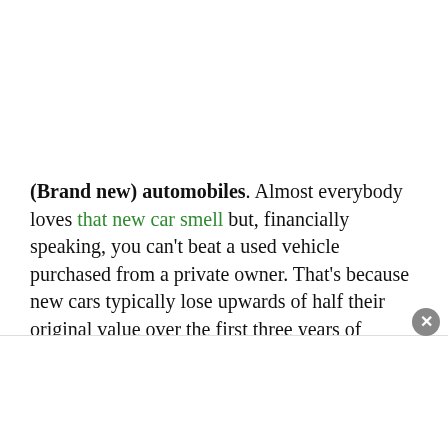(Brand new) automobiles. Almost everybody loves that new car smell but, financially speaking, you can't beat a used vehicle purchased from a private owner. That's because new cars typically lose upwards of half their original value over the first three years of ownership.
(Whole) life insurance. Unlike term life insurance, whole life insurance couples the term policy's guaranteed death